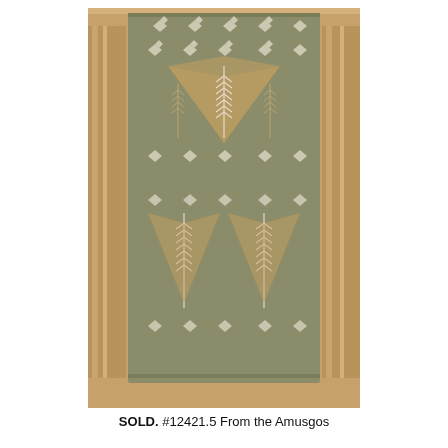[Figure (photo): A woven textile from the Amusgos, displayed hanging on a wooden rack. The fabric is olive/khaki green with white and tan decorative patterns including leaf/feather motifs and geometric butterfly-like designs arranged in horizontal bands.]
SOLD. #12421.5 From the Amusgos